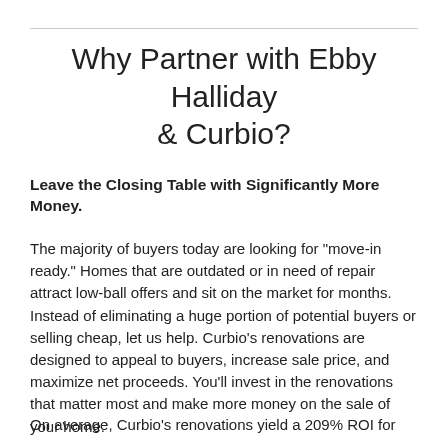Why Partner with Ebby Halliday & Curbio?
Leave the Closing Table with Significantly More Money.
The majority of buyers today are looking for "move-in ready." Homes that are outdated or in need of repair attract low-ball offers and sit on the market for months. Instead of eliminating a huge portion of potential buyers or selling cheap, let us help. Curbio's renovations are designed to appeal to buyers, increase sale price, and maximize net proceeds. You'll invest in the renovations that matter most and make more money on the sale of your home.
On average, Curbio's renovations yield a 209% ROI for